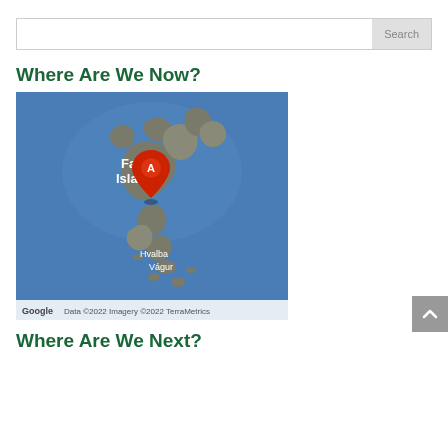[Figure (screenshot): Search bar with text input and Search button]
Where Are We Now?
[Figure (map): Google Maps satellite view of the Faroe Islands with a red location pin marker labeled A, showing place names Faroe Islands, Hvalba, and Vágur. Map attribution: Google, Data ©2022 Imagery ©2022 TerraMetrics]
Where Are We Next?